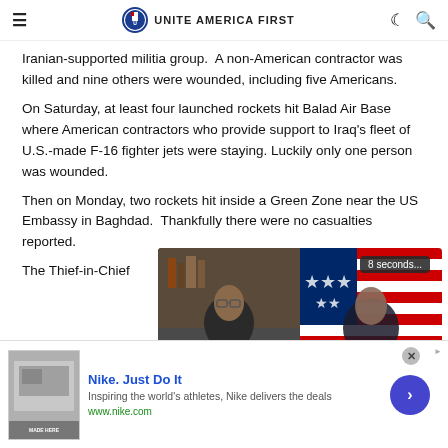UNITE AMERICA FIRST
Iranian-supported militia group.  A non-American contractor was killed and nine others were wounded, including five Americans.
On Saturday, at least four launched rockets hit Balad Air Base where American contractors who provide support to Iraq's fleet of U.S.-made F-16 fighter jets were staying. Luckily only one person was wounded.
Then on Monday, two rockets hit inside a Green Zone near the US Embassy in Baghdad. Thankfully there were no casualties reported.
The Thief-in-Chief
[Figure (screenshot): Video overlay showing two people side by side with a timer showing '8 seconds...' and an American flag background on the right side]
Nike. Just Do It
Inspiring the world's athletes, Nike delivers the deals
www.nike.com